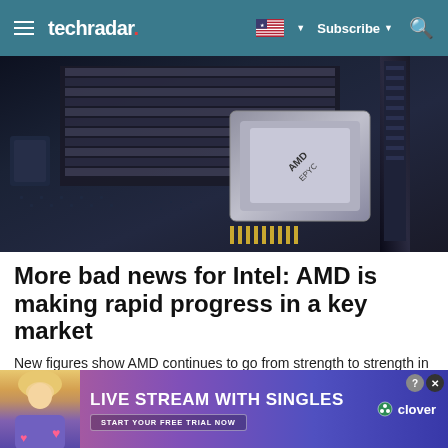techradar  Subscribe
[Figure (photo): Close-up photo of a computer motherboard with AMD EPYC processor, black heatsink fins, and RAM modules on a dark circuit board]
More bad news for Intel: AMD is making rapid progress in a key market
New figures show AMD continues to go from strength to strength in a market typically dominated by Intel.
TechRadar
[Figure (photo): Advertisement banner: LIVE STREAM WITH SINGLES - START YOUR FREE TRIAL NOW - clover logo, with blonde woman holding pink hearts on purple/pink gradient background]